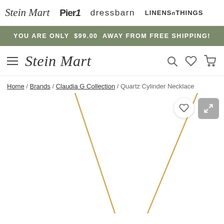Stein Mart | Pier1 | dressbarn | LINENS n THINGS
YOU ARE ONLY $99.00 AWAY FROM FREE SHIPPING!
[Figure (logo): Stein Mart logo with hamburger menu and navigation icons (search, wishlist, cart)]
Home / Brands / Claudia G Collection / Quartz Cylinder Necklace
[Figure (photo): Product photo of Quartz Cylinder Necklace showing gold chain V-shape against white background, with wishlist and fullscreen buttons]